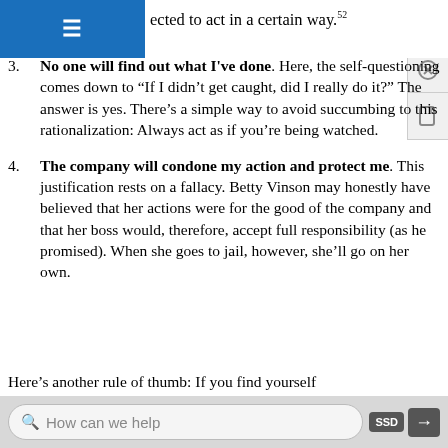or bills. They convince themselves that they needed to act in a certain way.52
3. No one will find out what I've done. Here, the self-questioning comes down to “If I didn’t get caught, did I really do it?” The answer is yes. There’s a simple way to avoid succumbing to this rationalization: Always act as if you’re being watched.
4. The company will condone my action and protect me. This justification rests on a fallacy. Betty Vinson may honestly have believed that her actions were for the good of the company and that her boss would, therefore, accept full responsibility (as he promised). When she goes to jail, however, she’ll go on her own.
Here’s another rule of thumb: If you find yourself
How can we help